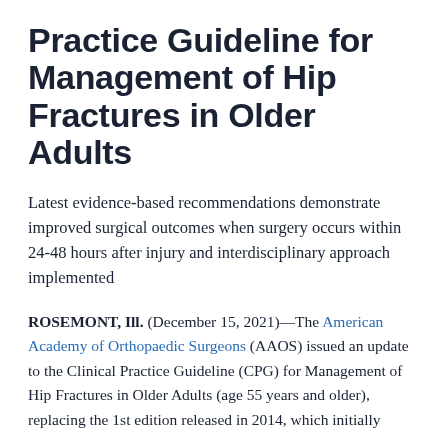Practice Guideline for Management of Hip Fractures in Older Adults
Latest evidence-based recommendations demonstrate improved surgical outcomes when surgery occurs within 24-48 hours after injury and interdisciplinary approach implemented
ROSEMONT, Ill. (December 15, 2021)—The American Academy of Orthopaedic Surgeons (AAOS) issued an update to the Clinical Practice Guideline (CPG) for Management of Hip Fractures in Older Adults (age 55 years and older), replacing the 1st edition released in 2014, which initially